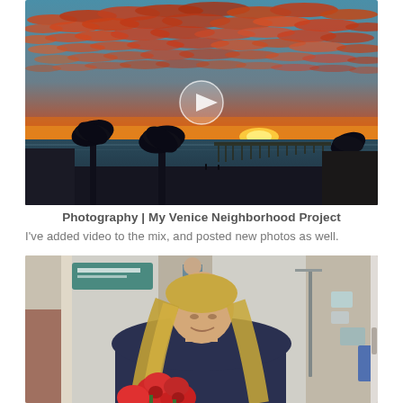[Figure (photo): A dramatic sunset/sunrise over a beach with silhouetted palm trees and a pier. The sky is filled with vivid orange and red clouds. A circular play button overlay is visible in the center, indicating this is a video thumbnail.]
Photography | My Venice Neighborhood Project
I've added video to the mix, and posted new photos as well.
[Figure (photo): A woman with long blonde hair wearing a dark hoodie looking down at red flowers. She appears to be in a medical or clinical setting with equipment visible in the background. Another person in scrubs is visible in the background.]